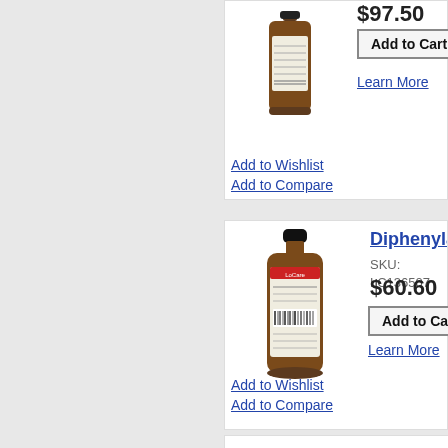[Figure (photo): Brown amber glass bottle with label, partially visible at top of first product card]
$97.50
Add to Cart
Learn More
Add to Wishlist
Add to Compare
Diphenylami...
SKU: LC136507
$60.60
Add to Cart
Learn More
Add to Wishlist
Add to Compare
[Figure (photo): Brown amber glass bottle with black cap and lab label, for Diphenylamine product]